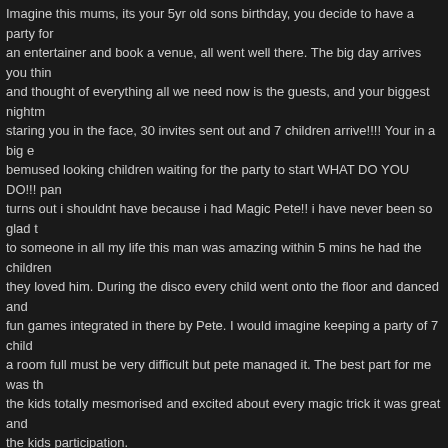Imagine this mums, its your 5yr old sons birthday, you decide to have a party for an entertainer and book a venue, all went well there. The big day arrives you think and thought of everything all we need now is the guests, and your biggest nightmare staring you in the face, 30 invites sent out and 7 children arrive!!!! Your in a big empty bemused looking children waiting for the party to start WHAT DO YOU DO!!! panic turns out i shouldnt have because i had Magic Pete!! i have never been so glad to someone in all my life this man was amazing within 5 mins he had the children they loved him. During the disco every child went onto the floor and danced and fun games integrated in there by Pete. I would imagine keeping a party of 7 child a room full must be very difficult but pete managed it. The best part for me was the kids totally mesmorised and excited about every magic trick it was great and the kids participation.
Anyway to cut a long story short with thanks to Magic Pete my son had a wonderful afterall. Thank you Magic Pete Roghains mum xx
Reply
Daniel Taylor says:
November 9, 2009 at 10:38 pm
Hi Magic Pete, just to say a big thank you for entertaining me and my friends at my birthday party. We loved the games but my favourite was the magic show, especially Thanks for being so funny.
Daniel
Reply